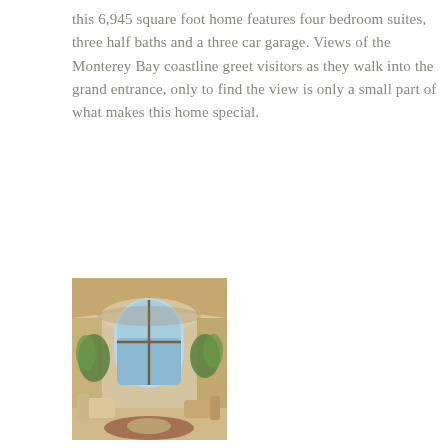this 6,945 square foot home features four bedroom suites, three half baths and a three car garage. Views of the Monterey Bay coastline greet visitors as they walk into the grand entrance, only to find the view is only a small part of what makes this home special.
[Figure (photo): Interior photo of a grand living room with arched ceiling, large arched window with ocean view, plants, and elegant furniture.]